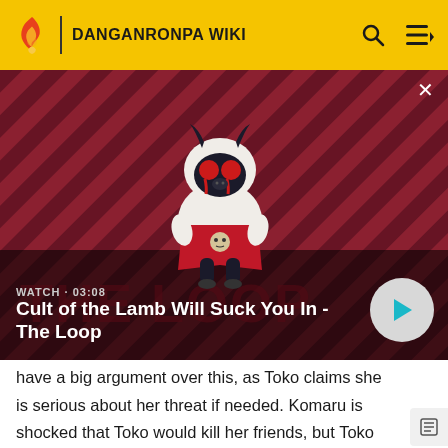DANGANRONPA WIKI
[Figure (screenshot): Video thumbnail showing a chibi character (lamb with demon horns and red eyes) from Cult of the Lamb game, against a diagonal red and dark stripe background. Shows WATCH · 03:08 and title 'Cult of the Lamb Will Suck You In - The Loop' with a play button.]
have a big argument over this, as Toko claims she is serious about her threat if needed. Komaru is shocked that Toko would kill her friends, but Toko just seems to assume that Komaru is only trying to manipulate her with nice words such as "friends". Saddened, Komaru tries to tell Toko that she truly does trust her, and Toko appears to